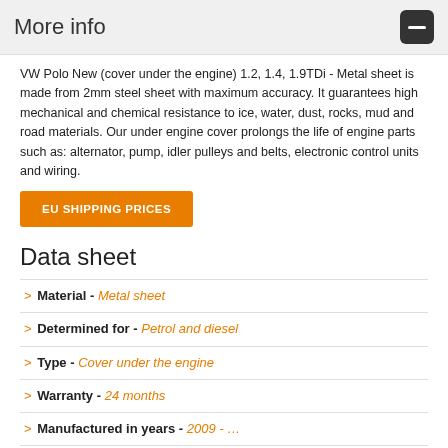More info
VW Polo New (cover under the engine) 1.2, 1.4, 1.9TDi - Metal sheet is made from 2mm steel sheet with maximum accuracy. It guarantees high mechanical and chemical resistance to ice, water, dust, rocks, mud and road materials. Our under engine cover prolongs the life of engine parts such as: alternator, pump, idler pulleys and belts, electronic control units and wiring.
EU SHIPPING PRICES
Data sheet
Material - Metal sheet
Determined for - Petrol and diesel
Type - Cover under the engine
Warranty - 24 months
Manufactured in years - 2009 - …